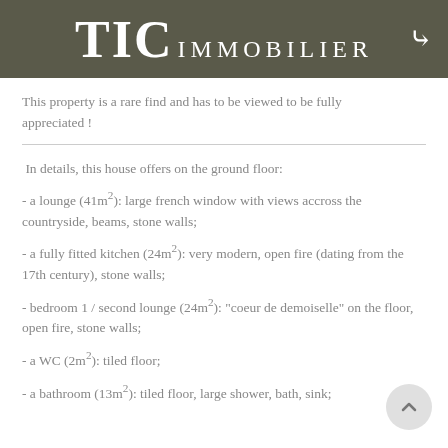TIC IMMOBILIER
This property is a rare find and has to be viewed to be fully appreciated !
In details, this house offers on the ground floor:
- a lounge (41m²): large french window with views accross the countryside, beams, stone walls;
- a fully fitted kitchen (24m²): very modern, open fire (dating from the 17th century), stone walls;
- bedroom 1 / second lounge (24m²): "coeur de demoiselle" on the floor, open fire, stone walls;
- a WC (2m²): tiled floor;
- a bathroom (13m²): tiled floor, large shower, bath, sink;